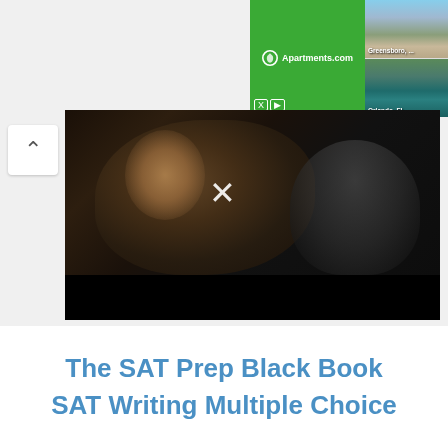[Figure (screenshot): Apartments.com advertisement banner with green background and logo]
[Figure (photo): Photo of Greensboro apartment building exterior]
[Figure (photo): Photo of Orlando FL apartment pool area]
[Figure (screenshot): Video player showing blurred cinema scene of woman's profile with X close button, black bar at bottom]
The SAT Prep Black Book
SAT Writing Multiple Choice